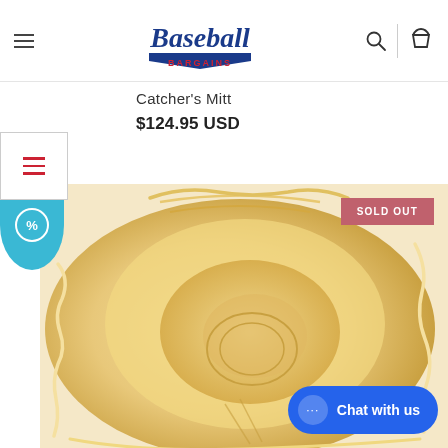Baseball Bargains — navigation header with hamburger menu, logo, search icon, and cart icon
Catcher's Mitt
$124.95 USD
[Figure (screenshot): Close-up product photo of a tan/cream colored baseball catcher's mitt showing the interior pocket and lacing detail, with a SOLD OUT badge in red/pink at top right and a blue circular discount badge at top left]
SOLD OUT
Chat with us